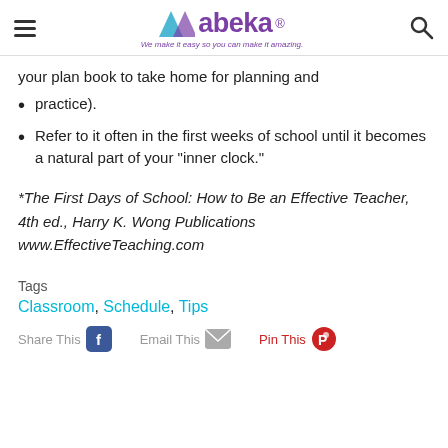abeka — We make it easy so you can make it amazing.
your plan book to take home for planning and
practice).
Refer to it often in the first weeks of school until it becomes a natural part of your "inner clock."
*The First Days of School: How to Be an Effective Teacher, 4th ed., Harry K. Wong Publications www.EffectiveTeaching.com
Tags
Classroom, Schedule, Tips
Share This   Email This   Pin This